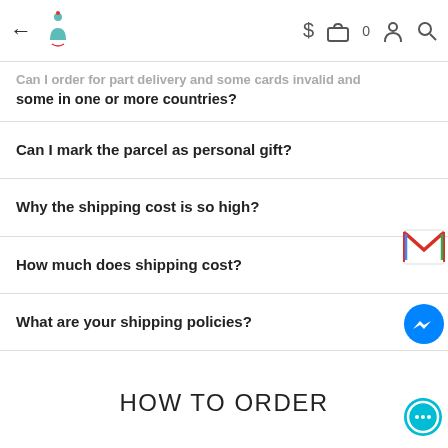← [logo] $ [bag] 0 [person] [search]
Can I order for part delivery and some cards invalid and some in one or more countries?
Can I mark the parcel as personal gift?
Why the shipping cost is so high?
How much does shipping cost?
What are your shipping policies?
My Committed delivery time is over?? I have still not received the order?
HOW TO ORDER